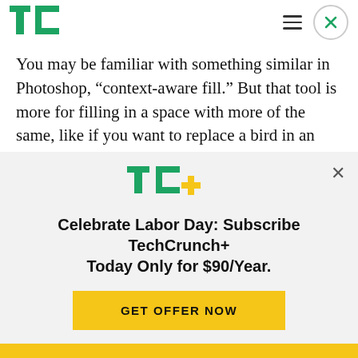[Figure (logo): TechCrunch TC green logo]
You may be familiar with something similar in Photoshop, “context-aware fill.” But that tool is more for filling in a space with more of the same, like if you want to replace a bird in an otherwise clear sky and don’t want to bother with clone stamping. DALL-E 2’s capabilities are much greater, able to invent new things, for example a different kind of
[Figure (logo): TC+ TechCrunch Plus logo in green and yellow]
Celebrate Labor Day: Subscribe TechCrunch+ Today Only for $90/Year.
GET OFFER NOW